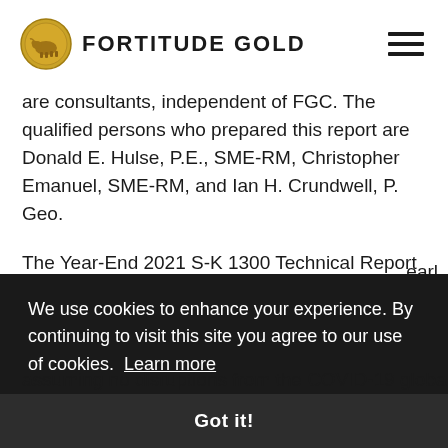FORTITUDE GOLD
are consultants, independent of FGC. The qualified persons who prepared this report are Donald E. Hulse, P.E., SME-RM, Christopher Emanuel, SME-RM, and Ian H. Crundwell, P. Geo.
The Year-End 2021 S-K 1300 Technical Report Summary will be available on the Company's website in the near future.
We use cookies to enhance your experience. By continuing to visit this site you agree to our use of cookies. Learn more
Got it!